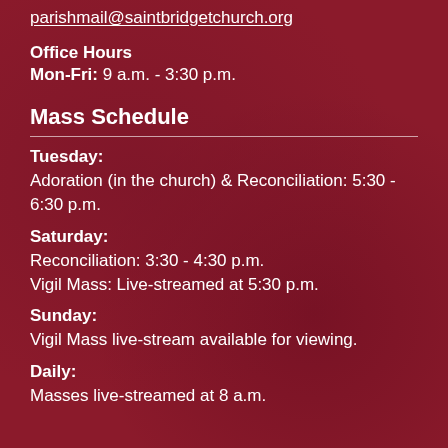parishmail@saintbridgetchurch.org
Office Hours
Mon-Fri: 9 a.m. - 3:30 p.m.
Mass Schedule
Tuesday:
Adoration (in the church) & Reconciliation: 5:30 - 6:30 p.m.
Saturday:
Reconciliation: 3:30 - 4:30 p.m.
Vigil Mass: Live-streamed at 5:30 p.m.
Sunday:
Vigil Mass live-stream available for viewing.
Daily:
Masses live-streamed at 8 a.m.